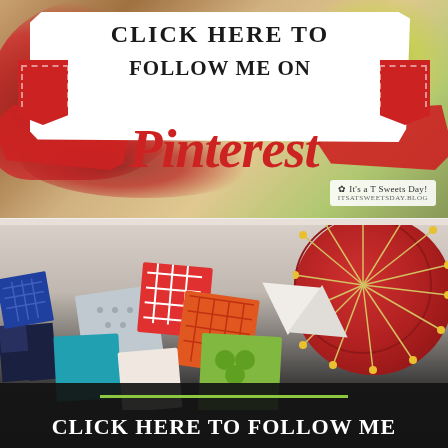[Figure (illustration): Pinterest follow button graphic. White paint-brush-stroke banner over colorful crochet doily background, red ribbon tags on sides. Text reads 'Click Here to Follow Me on Pinterest'. Bottom right has 'It's a T Sweets Day!' logo watermark.]
[Figure (photo): Quilting/sewing photo showing colorful fabric quilt squares and a red pin cushion with pins. Bottom has a dark banner with green line accent and partially visible text 'Click Here to Follow Me' in white.]